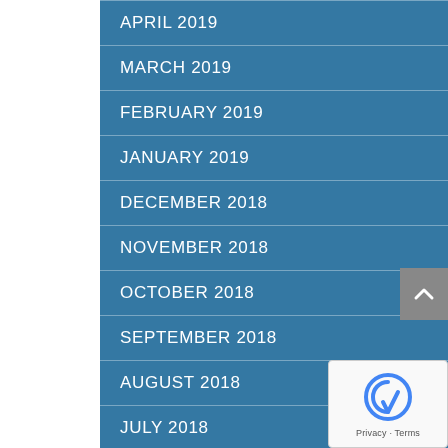APRIL 2019
MARCH 2019
FEBRUARY 2019
JANUARY 2019
DECEMBER 2018
NOVEMBER 2018
OCTOBER 2018
SEPTEMBER 2018
AUGUST 2018
JULY 2018
JUNE 2018